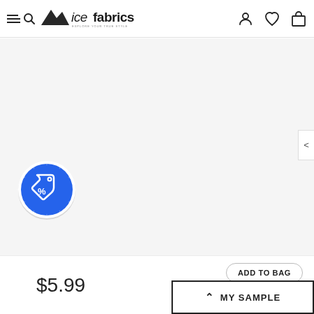[Figure (logo): Ice Fabrics logo with mountain icon and text 'icefabrics - EXPLORE YOUR TRUE STYLE']
[Figure (infographic): Product image area - mostly white/empty with a blue circular discount/coupon badge icon in the lower left]
$5.99
ADD TO BAG
MY SAMPLE